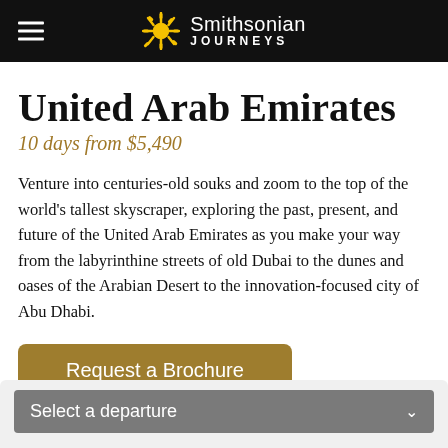Smithsonian Journeys
United Arab Emirates
10 days from $5,490
Venture into centuries-old souks and zoom to the top of the world's tallest skyscraper, exploring the past, present, and future of the United Arab Emirates as you make your way from the labyrinthine streets of old Dubai to the dunes and oases of the Arabian Desert to the innovation-focused city of Abu Dhabi.
Request a Brochure
Select a departure